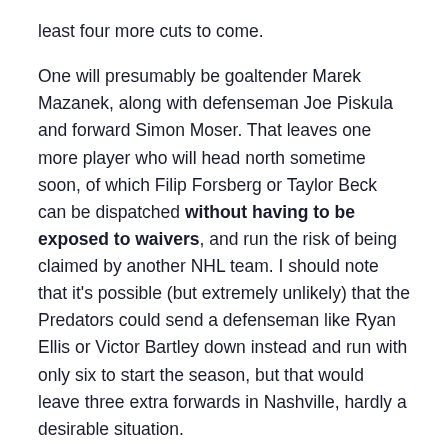least four more cuts to come.
One will presumably be goaltender Marek Mazanek, along with defenseman Joe Piskula and forward Simon Moser. That leaves one more player who will head north sometime soon, of which Filip Forsberg or Taylor Beck can be dispatched without having to be exposed to waivers, and run the risk of being claimed by another NHL team. I should note that it's possible (but extremely unlikely) that the Predators could send a defenseman like Ryan Ellis or Victor Bartley down instead and run with only six to start the season, but that would leave three extra forwards in Nashville, hardly a desirable situation.